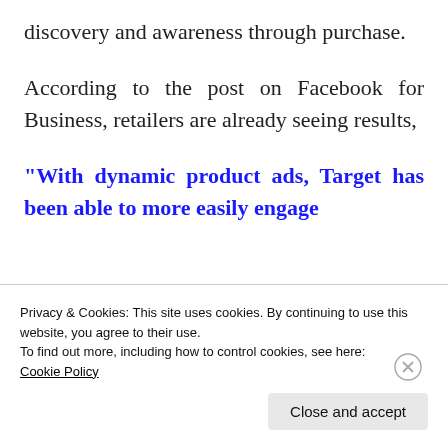discovery and awareness through purchase.
According to the post on Facebook for Business, retailers are already seeing results,
“With dynamic product ads, Target has been able to more easily engage
Privacy & Cookies: This site uses cookies. By continuing to use this website, you agree to their use.
To find out more, including how to control cookies, see here:
Cookie Policy
Close and accept